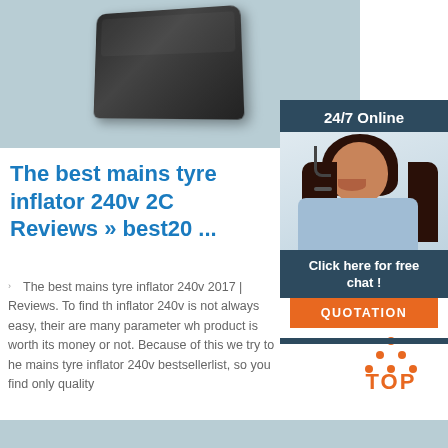[Figure (photo): Top image showing a dark rectangular tyre inflator device on a light blue-grey background]
[Figure (infographic): Sidebar widget with '24/7 Online' header, photo of a woman with headset smiling, 'Click here for free chat!' text, and orange QUOTATION button]
The best mains tyre inflator 240v 20 Reviews » best20 ...
The best mains tyre inflator 240v 2017 | Reviews. To find the inflator 240v is not always easy, their are many parameter wh product is worth its money or not. Because of this we try to he mains tyre inflator 240v bestsellerlist, so you find only quality
[Figure (logo): Orange TOP icon with upward triangle made of dots above the text TOP]
[Figure (other): Light blue-grey horizontal strip at the bottom of the page]